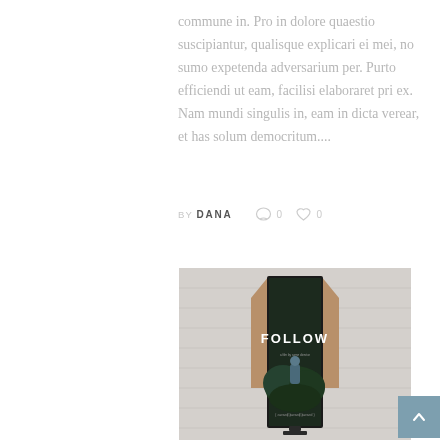commune in. Pro in dolore quaestio suscipiantur, qualisque explicari ei mei, no sumo expetenda adversarium per. Purto efficiendi ut eam, facilisi elaboraret pri ex. Nam mundi singulis in, eam in dicta verear, et has solum democritum....
BY DANA  0  0
[Figure (photo): A person holding up a dark movie poster with the word FOLLOW in large white letters, surrounded by tropical greenery. The scene is photographed against a white brick wall background.]